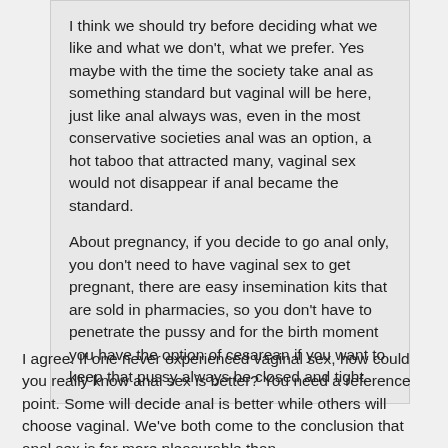I think we should try before deciding what we like and what we don't, what we prefer. Yes maybe with the time the society take anal as something standard but vaginal will be here, just like anal always was, even in the most conservative societies anal was an option, a hot taboo that attracted many, vaginal sex would not disappear if anal became the standard.

About pregnancy, if you decide to go anal only, you don't need to have vaginal sex to get pregnant, there are easy insemination kits that are sold in pharmacies, so you don't have to penetrate the pussy and for the birth moment you have the option of cesarean if you want to keep that pussy always be closed and tight.
I agree. If one never experienced vaginal sex, how could you really know anal sex is better? You need a reference point. Some will decide anal is better while others will choose vaginal. We've both come to the conclusion that anal sex is far more pleasurable than